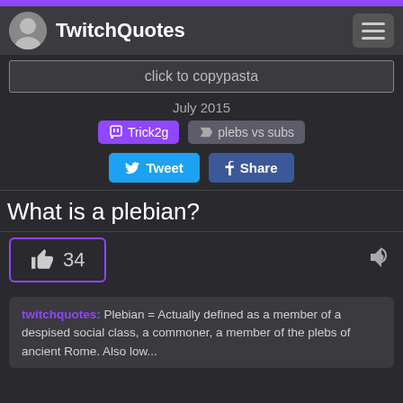TwitchQuotes
click to copypasta
July 2015
Trick2g  plebs vs subs
Tweet  Share
What is a plebian?
34
twitchquotes: Plebian = Actually defined as a member of a despised social class, a commoner, a member of the plebs of ancient Rome. Also low...